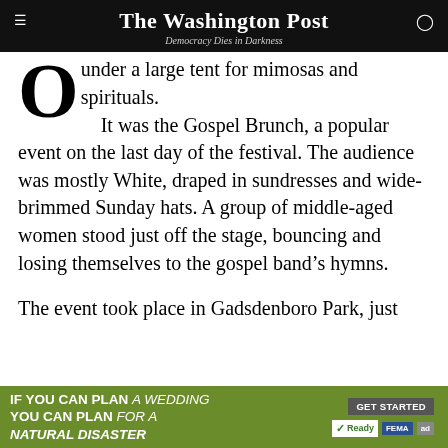The Washington Post — Democracy Dies in Darkness
under a large tent for mimosas and spirituals. It was the Gospel Brunch, a popular event on the last day of the festival. The audience was mostly White, draped in sundresses and wide-brimmed Sunday hats. A group of middle-aged women stood just off the stage, bouncing and losing themselves to the gospel band's hymns.
The event took place in Gadsdenboro Park, just across the street from the site of the new International African American Museum, which is scheduled to open in 2023. Organizers used the brunch to solicit museum donations and recruit board members hot son…
[Figure (screenshot): Advertisement banner: IF YOU CAN PLAN A WEDDING YOU CAN PLAN FOR A NATURAL DISASTER — GET STARTED — Ready FEMA ad]